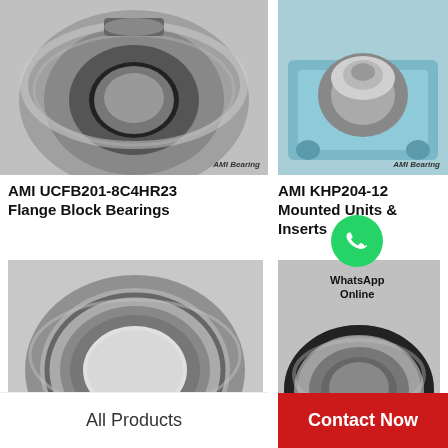[Figure (photo): AMI UCFB201-8C4HR23 Flange Block Bearing - metallic bearing insert with black rubber seal on grey background]
[Figure (photo): AMI KHP204-12 Mounted Unit bearing in a blue/teal pillow block housing]
AMI UCFB201-8C4HR23 Flange Block Bearings
AMI KHP204-12 Mounted Units & Inserts
[Figure (photo): Large round bearing ring/insert viewed from front, metallic grey]
[Figure (photo): AMI bearing insert with black seal, metallic finish, side view with WhatsApp Online overlay]
WhatsApp Online
All Products
Contact Now